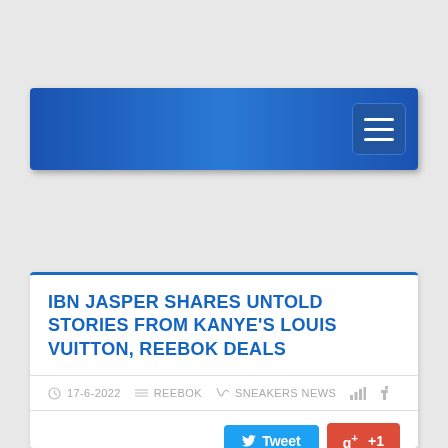[Figure (screenshot): Blue gradient navigation bar with hamburger menu button on the right]
IBN JASPER SHARES UNTOLD STORIES FROM KANYE'S LOUIS VUITTON, REEBOK DEALS
17-6-2022  REEBOK  SNEAKERS NEWS
Tweet  g+ +1